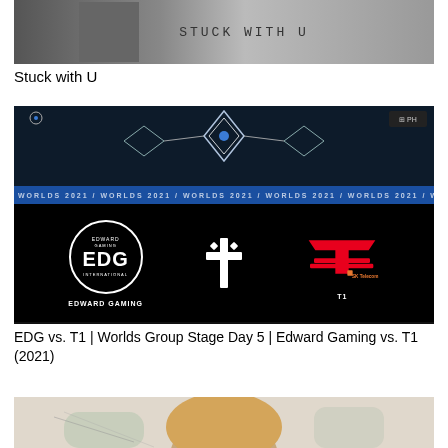[Figure (photo): Thumbnail of 'Stuck with U' music single cover showing text 'STUCK WITH U' in handwritten style on gray background]
Stuck with U
[Figure (photo): Thumbnail of EDG vs. T1 League of Legends Worlds 2021 Group Stage Day 5 match, showing Edward Gaming and T1 team logos on black background with Worlds 2021 banner]
EDG vs. T1 | Worlds Group Stage Day 5 | Edward Gaming vs. T1 (2021)
[Figure (photo): Partial thumbnail of a third video, showing the top of a person's head with light brown hair against a light background]